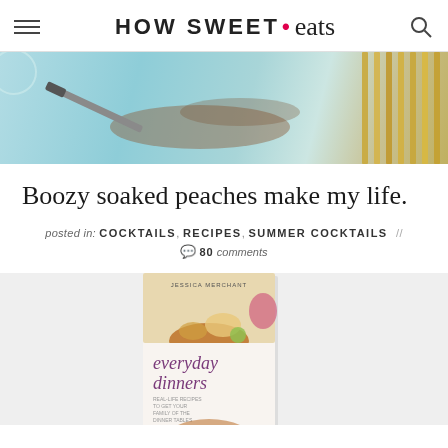HOW SWEET eats
[Figure (photo): Overhead/flat-lay food photo with a teal/aqua background, a knife, and gold metal straws on the right side]
Boozy soaked peaches make my life.
posted in: COCKTAILS, RECIPES, SUMMER COCKTAILS // 💬 80 comments
[Figure (photo): Book cover of 'everyday dinners' by Jessica Merchant showing a bowl of soup with garnishes on a light background]